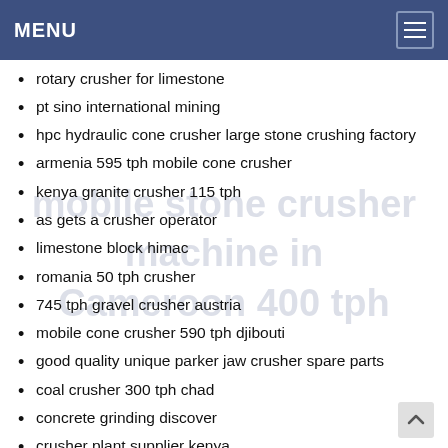MENU
rotary crusher for limestone
pt sino international mining
hpc hydraulic cone crusher large stone crushing factory
armenia 595 tph mobile cone crusher
kenya granite crusher 115 tph
as gets a crusher operator
limestone block himac
romania 50 tph crusher
745 tph gravel crusher austria
mobile cone crusher 590 tph djibouti
good quality unique parker jaw crusher spare parts
coal crusher 300 tph chad
concrete grinding discover
crusher plant supplier kenya
san marino asphalt crusher 515 tph